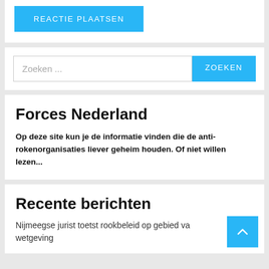[Figure (screenshot): Blue 'REACTIE PLAATSEN' button on white card background]
[Figure (screenshot): Search bar with placeholder 'Zoeken ...' and blue 'ZOEKEN' button]
Forces Nederland
Op deze site kun je de informatie vinden die de anti-rokenorganisaties liever geheim houden. Of niet willen lezen...
Recente berichten
Nijmeegse jurist toetst rookbeleid op gebied van wetgeving